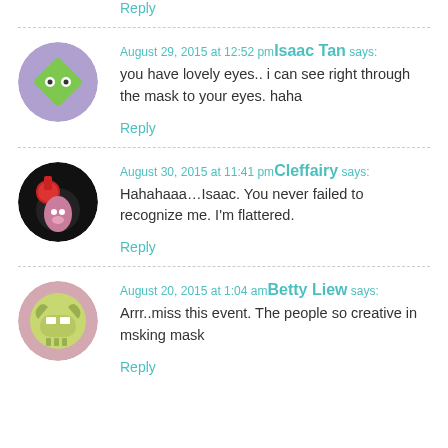Reply
August 29, 2015 at 12:52 pm Isaac Tan says:
you have lovely eyes.. i can see right through the mask to your eyes. haha
Reply
August 30, 2015 at 11:41 pm Cleffairy says:
Hahahaaa…Isaac. You never failed to recognize me. I'm flattered.
Reply
August 20, 2015 at 1:04 am Betty Liew says:
Arrr..miss this event. The people so creative in msking mask
Reply